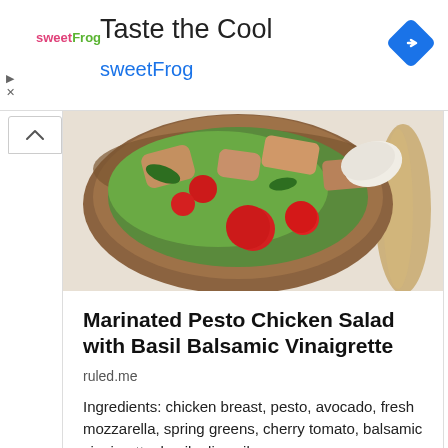[Figure (advertisement): sweetFrog ad banner with logo, 'Taste the Cool' headline, blue 'sweetFrog' text, and a blue diamond navigation icon]
[Figure (photo): Overhead photo of a wooden bowl filled with marinated pesto chicken salad containing cherry tomatoes, greens, mozzarella and croutons, with a wooden spoon on the side]
Marinated Pesto Chicken Salad with Basil Balsamic Vinaigrette
ruled.me
Ingredients: chicken breast, pesto, avocado, fresh mozzarella, spring greens, cherry tomato, balsamic vinaigrette, basil, olive oil